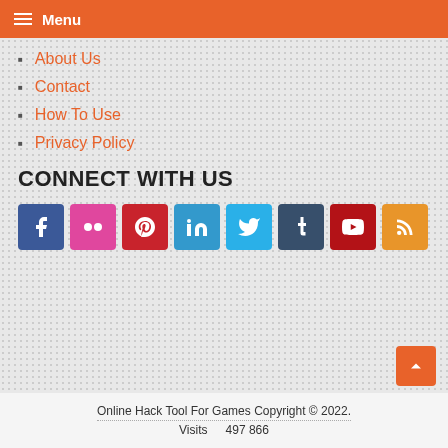Menu
About Us
Contact
How To Use
Privacy Policy
CONNECT WITH US
[Figure (infographic): Social media icon buttons row: Facebook, Flickr, Pinterest, LinkedIn, Twitter, Tumblr, YouTube, RSS]
Online Hack Tool For Games Copyright © 2022. Visits 497 866